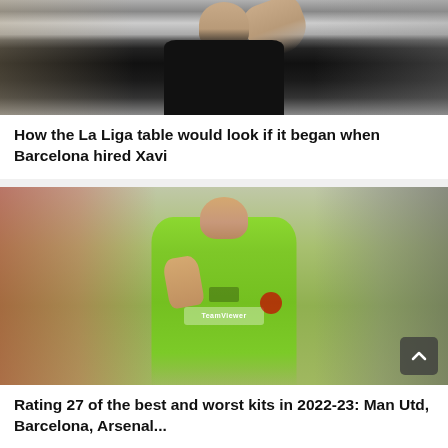[Figure (photo): Partial photo of a person (likely Xavi) in a black top, photographed from chest up, arm raised, crowd in background]
How the La Liga table would look if it began when Barcelona hired Xavi
[Figure (photo): Football player (Casemiro) wearing a bright green Manchester United away kit with TeamViewer sponsor, holding up three fingers, crowd in background]
Rating 27 of the best and worst kits in 2022-23: Man Utd, Barcelona, Arsenal...